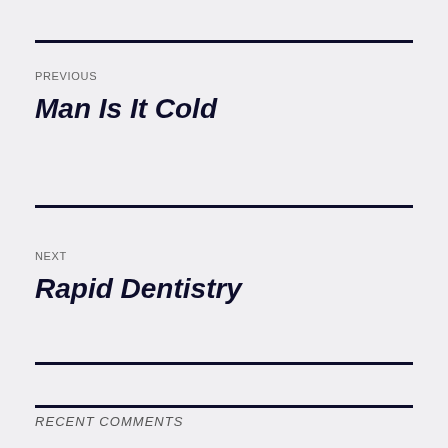PREVIOUS
Man Is It Cold
NEXT
Rapid Dentistry
RECENT COMMENTS